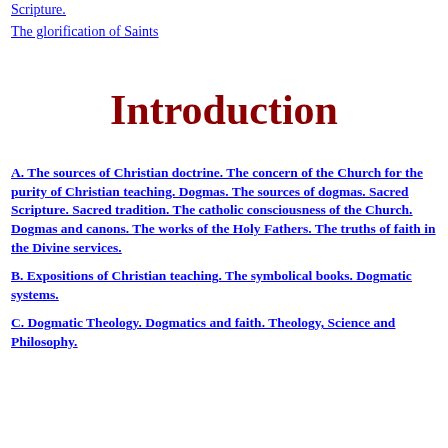Scripture.
The glorification of Saints
Introduction
A. The sources of Christian doctrine. The concern of the Church for the purity of Christian teaching. Dogmas. The sources of dogmas. Sacred Scripture. Sacred tradition. The catholic consciousness of the Church. Dogmas and canons. The works of the Holy Fathers. The truths of faith in the Divine services.
B. Expositions of Christian teaching. The symbolical books. Dogmatic systems.
C. Dogmatic Theology. Dogmatics and faith. Theology, Science and Philosophy.